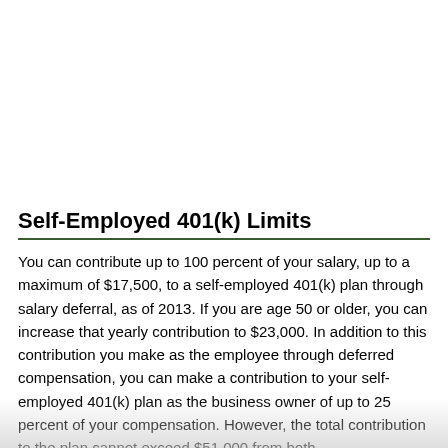Self-Employed 401(k) Limits
You can contribute up to 100 percent of your salary, up to a maximum of $17,500, to a self-employed 401(k) plan through salary deferral, as of 2013. If you are age 50 or older, you can increase that yearly contribution to $23,000. In addition to this contribution you make as the employee through deferred compensation, you can make a contribution to your self-employed 401(k) plan as the business owner of up to 25 percent of your compensation. However, the total contribution to the plan cannot exceed $51,000 from both